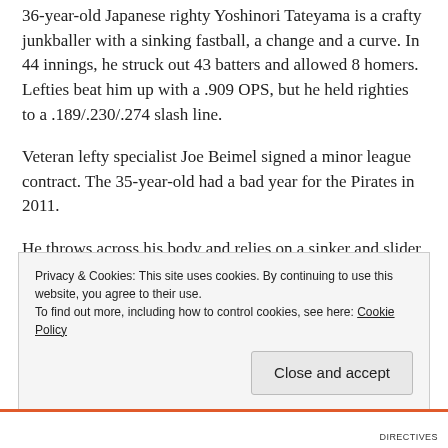36-year-old Japanese righty Yoshinori Tateyama is a crafty junkballer with a sinking fastball, a change and a curve. In 44 innings, he struck out 43 batters and allowed 8 homers. Lefties beat him up with a .909 OPS, but he held righties to a .189/.230/.274 slash line.
Veteran lefty specialist Joe Beimel signed a minor league contract. The 35-year-old had a bad year for the Pirates in 2011.
He throws across his body and relies on a sinker and slider and, as relievers numbers tend to fluctuate, it’s reasonable to think the Beimel could have a comeback
Privacy & Cookies: This site uses cookies. By continuing to use this website, you agree to their use. To find out more, including how to control cookies, see here: Cookie Policy
Close and accept